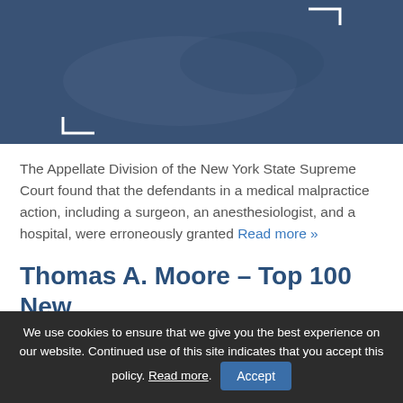[Figure (photo): Dark blue hero image with surgical/medical tools visible in the background and white bracket corner decorations overlaid]
The Appellate Division of the New York State Supreme Court found that the defendants in a medical malpractice action, including a surgeon, an anesthesiologist, and a hospital, were erroneously granted Read more »
Thomas A. Moore – Top 100 New York Super Lawyer
We use cookies to ensure that we give you the best experience on our website. Continued use of this site indicates that you accept this policy. Read more. Accept